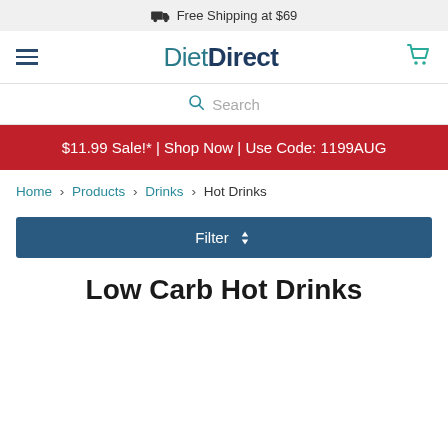Free Shipping at $69
[Figure (logo): DietDirect logo with leaf icon, navigation hamburger menu and cart icon]
Search
$11.99 Sale!* | Shop Now | Use Code: 1199AUG
Home > Products > Drinks > Hot Drinks
Filter
Low Carb Hot Drinks